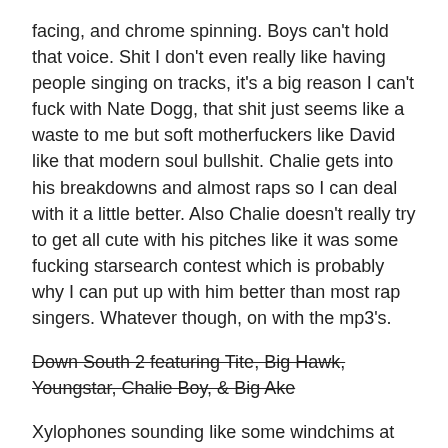facing, and chrome spinning. Boys can't hold that voice. Shit I don't even really like having people singing on tracks, it's a big reason I can't fuck with Nate Dogg, that shit just seems like a waste to me but soft motherfuckers like David like that modern soul bullshit. Chalie gets into his breakdowns and almost raps so I can deal with it a little better. Also Chalie doesn't really try to get all cute with his pitches like it was some fucking starsearch contest which is probably why I can put up with him better than most rap singers. Whatever though, on with the mp3's.
Down South 2 featuring Tite, Big Hawk, Youngstar, Chalie Boy, & Big Ake
Xylophones sounding like some windchims at your moms house lead into some synthesized horns and that's pretty much it for a beat other than some drums you can't really